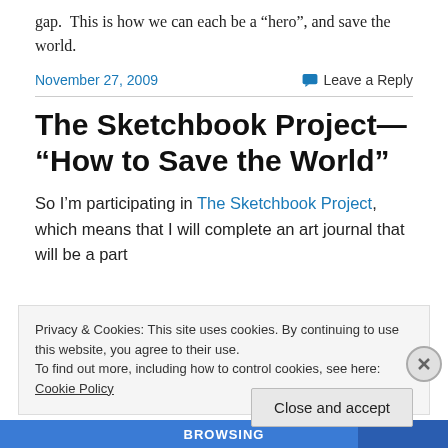gap.  This is how we can each be a “hero”, and save the world.
November 27, 2009
Leave a Reply
The Sketchbook Project— “How to Save the World”
So I’m participating in The Sketchbook Project, which means that I will complete an art journal that will be a part
Privacy & Cookies: This site uses cookies. By continuing to use this website, you agree to their use.
To find out more, including how to control cookies, see here: Cookie Policy
Close and accept